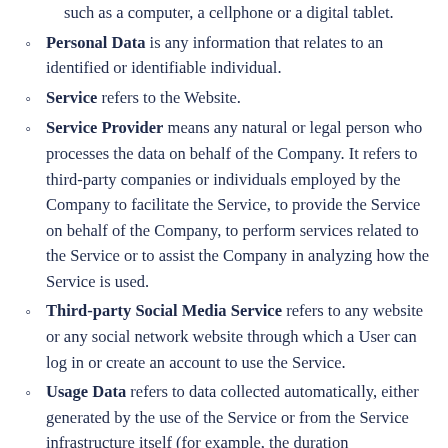such as a computer, a cellphone or a digital tablet.
Personal Data is any information that relates to an identified or identifiable individual.
Service refers to the Website.
Service Provider means any natural or legal person who processes the data on behalf of the Company. It refers to third-party companies or individuals employed by the Company to facilitate the Service, to provide the Service on behalf of the Company, to perform services related to the Service or to assist the Company in analyzing how the Service is used.
Third-party Social Media Service refers to any website or any social network website through which a User can log in or create an account to use the Service.
Usage Data refers to data collected automatically, either generated by the use of the Service or from the Service infrastructure itself (for example, the duration